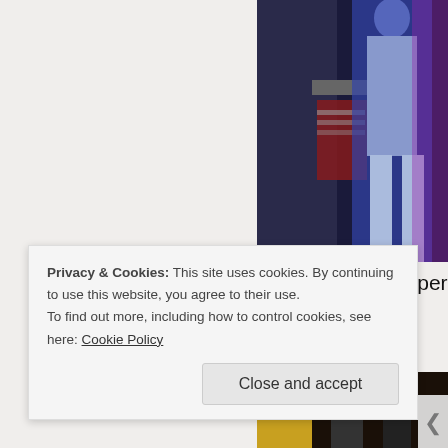[Figure (photo): Photo of a person on stage in blue/white clothing, with red equipment visible in the background]
They each wrote a song about their experiences in Viet Nam and sa
[Figure (photo): Two women standing indoors near a framed picture on the wall in a dimly lit room]
Privacy & Cookies: This site uses cookies. By continuing to use this website, you agree to their use.
To find out more, including how to control cookies, see here: Cookie Policy
Close and accept